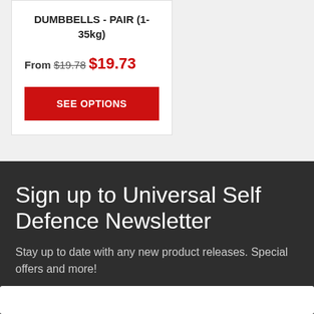DUMBBELLS - PAIR (1-35kg)
From $19.78 $19.73
SEE OPTIONS
Sign up to Universal Self Defence Newsletter
Stay up to date with any new product releases. Special offers and more!